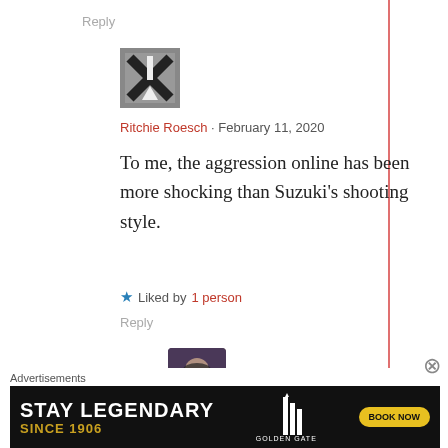Reply
[Figure (photo): User avatar with X/arrow graphic, black and white]
Ritchie Roesch · February 11, 2020
To me, the aggression online has been more shocking than Suzuki's shooting style.
★ Liked by 1 person
Reply
[Figure (photo): User avatar of a person wearing sunglasses and a hooded jacket]
Advertisements
[Figure (screenshot): Advertisement banner: STAY LEGENDARY SINCE 1906 GOLDEN GATE BOOK NOW]